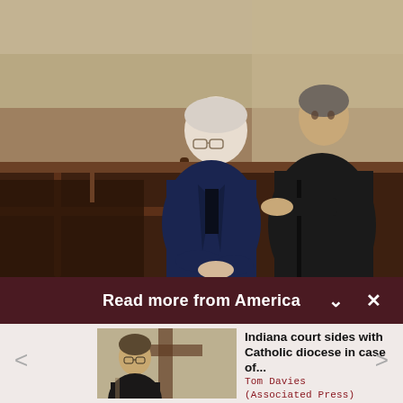[Figure (photo): Two men sitting in church pews. One man in a navy suit is bowing his head, the other man in a dark monk's robe is seated looking outward. Church interior with wooden pews visible.]
Read more from America
[Figure (photo): Thumbnail photo of a man in dark clerical attire speaking at a podium, with a wooden cross blurred in the background.]
Indiana court sides with Catholic diocese in case of...
Tom Davies
(Associated Press)